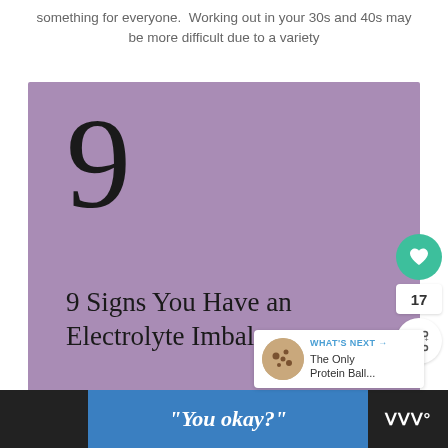something for everyone.  Working out in your 30s and 40s may be more difficult due to a variety
[Figure (infographic): Purple/mauve card with large numeral '9' at top and text '9 Signs You Have an Electrolyte Imbalance' below, with a heart (like) button showing 17 likes and a share button on the right edge, and a 'WHAT'S NEXT' preview card in the bottom-right corner showing 'The Only Protein Ball...']
"You okay?"